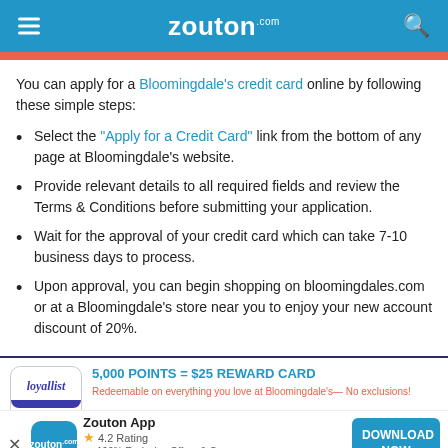zouton.com
You can apply for a Bloomingdale's credit card online by following these simple steps:
Select the "Apply for a Credit Card" link from the bottom of any page at Bloomingdale's website.
Provide relevant details to all required fields and review the Terms & Conditions before submitting your application.
Wait for the approval of your credit card which can take 7-10 business days to process.
Upon approval, you can begin shopping on bloomingdales.com or at a Bloomingdale's store near you to enjoy your new account discount of 20%.
[Figure (logo): Loyallist logo and Zouton app promotional banner with 5,000 POINTS = $25 REWARD CARD offer]
5,000 POINTS = $25 REWARD CARD
Redeemable on everything you love at Bloomingdale's— No exclusions!
Zouton App
4.2 Rating
100% Exclusive Offers & Coupons
Shop & Save on 500+ Online Brands
DOWNLOAD NOW